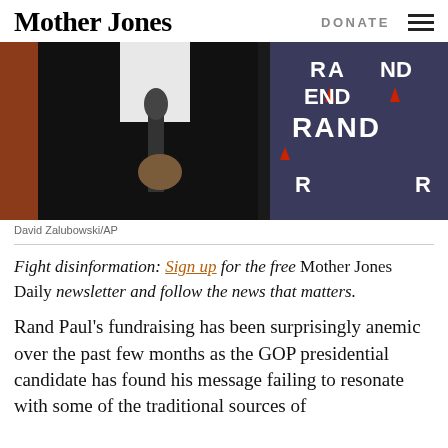Mother Jones | DONATE
[Figure (photo): Man in dark suit holding a microphone in front of 'RAND' campaign backdrop signs]
David Zalubowski/AP
Fight disinformation: Sign up for the free Mother Jones Daily newsletter and follow the news that matters.
Rand Paul's fundraising has been surprisingly anemic over the past few months as the GOP presidential candidate has found his message failing to resonate with some of the traditional sources of